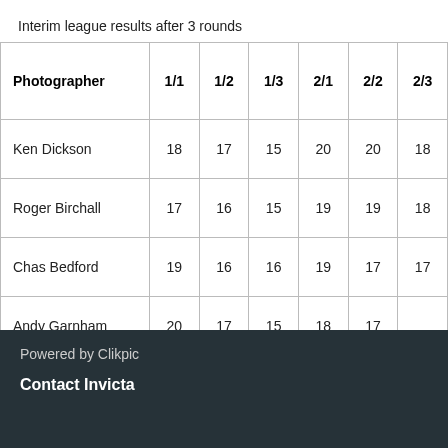Interim league results after 3 rounds
| Photographer | 1/1 | 1/2 | 1/3 | 2/1 | 2/2 | 2/3 |
| --- | --- | --- | --- | --- | --- | --- |
| Ken Dickson | 18 | 17 | 15 | 20 | 20 | 18 |
| Roger Birchall | 17 | 16 | 15 | 19 | 19 | 18 |
| Chas Bedford | 19 | 16 | 16 | 19 | 17 | 17 |
| Andy Garnham | 20 | 17 | 15 | 18 | 17 |  |
| Zoe Garnham–Archer | 18 | 17 | 16 | 18 | 17 |  |
Powered by Clikpic
Contact Invicta